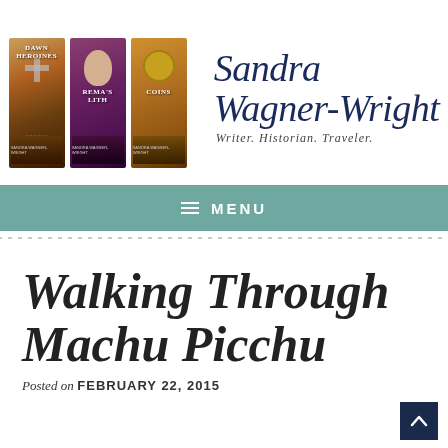[Figure (logo): Sandra Wagner-Wright website header with three book covers and script logo text reading 'Sandra Wagner-Wright – Writer. Historian. Traveler.']
≡ MENU
Walking Through Machu Picchu
Posted on FEBRUARY 22, 2015